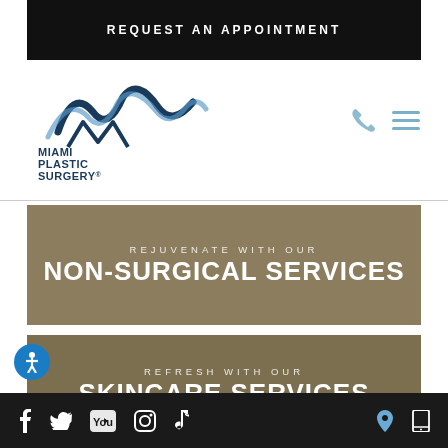REQUEST AN APPOINTMENT
[Figure (logo): Miami Plastic Surgery MPS Medspa logo with stylized mountain/wave graphic above text]
[Figure (infographic): Phone icon and hamburger menu icon in blue/grey]
REJUVENATE WITH OUR
NON-SURGICAL SERVICES
REFRESH WITH OUR
SKINCARE SERVICES
[Figure (infographic): Accessibility icon (person in circle) in blue circle]
Social media icons: Facebook, Twitter, YouTube, Instagram, TikTok; Location pin and phone icons on the right